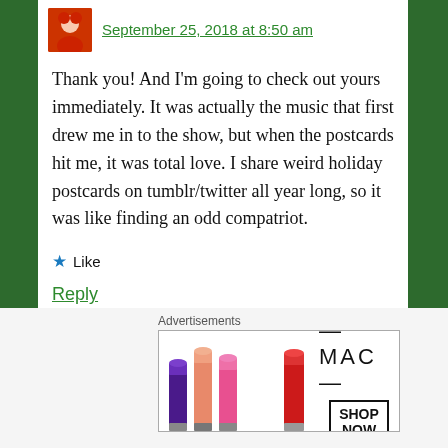September 25, 2018 at 8:50 am
Thank you! And I’m going to check out yours immediately. It was actually the music that first drew me in to the show, but when the postcards hit me, it was total love. I share weird holiday postcards on tumblr/twitter all year long, so it was like finding an odd compatriot.
★ Like
Reply
Advertisements
[Figure (photo): MAC cosmetics advertisement showing colorful lipsticks with SHOP NOW button]